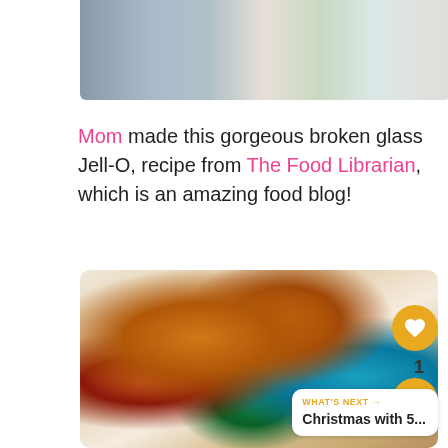[Figure (photo): Cropped top portion of a photo showing a person in a floral dress near a white surface]
Mom made this gorgeous broken glass Jell-O, recipe from The Food Librarian, which is an amazing food blog!
[Figure (photo): Close-up photo of broken glass Jell-O dessert with colorful gelatin pieces (orange, blue, green, red) embedded in white cream gelatin]